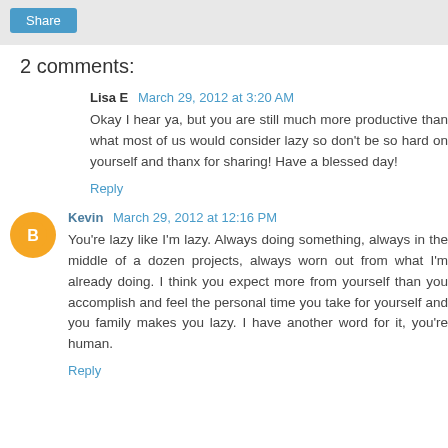2 comments:
Lisa E  March 29, 2012 at 3:20 AM
Okay I hear ya, but you are still much more productive than what most of us would consider lazy so don't be so hard on yourself and thanx for sharing! Have a blessed day!
Reply
Kevin  March 29, 2012 at 12:16 PM
You're lazy like I'm lazy. Always doing something, always in the middle of a dozen projects, always worn out from what I'm already doing. I think you expect more from yourself than you accomplish and feel the personal time you take for yourself and you family makes you lazy. I have another word for it, you're human.
Reply